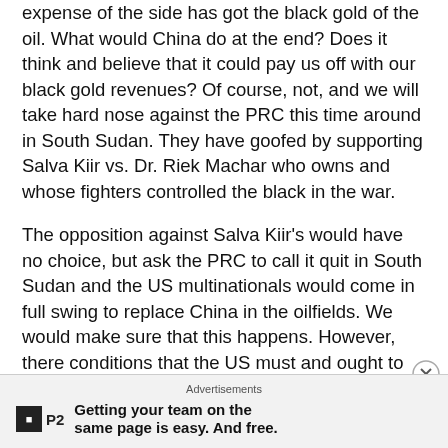expense of the side has got the black gold of the oil. What would China do at the end? Does it think and believe that it could pay us off with our black gold revenues? Of course, not, and we will take hard nose against the PRC this time around in South Sudan. They have goofed by supporting Salva Kiir vs. Dr. Riek Machar who owns and whose fighters controlled the black in the war.
The opposition against Salva Kiir's would have no choice, but ask the PRC to call it quit in South Sudan and the US multinationals would come in full swing to replace China in the oilfields. We would make sure that this happens. However, there conditions that the US must and ought to admit to do first and foremost of all, viz.,: (1) to restore full diplomatic relations with Sudan; (2) to remove Sudan from the blacklis...
Advertisements
Getting your team on the same page is easy. And free.